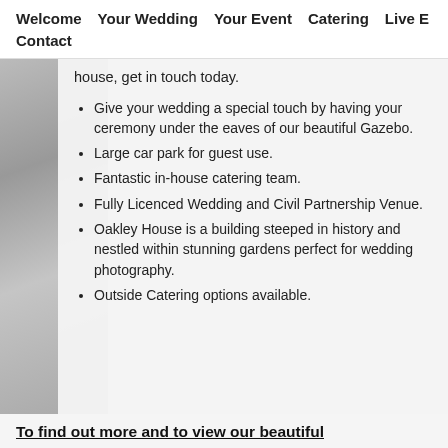Welcome   Your Wedding   Your Event   Catering   Live E   Contact
house, get in touch today.
Give your wedding a special touch by having your ceremony under the eaves of our beautiful Gazebo.
Large car park for guest use.
Fantastic in-house catering team.
Fully Licenced Wedding and Civil Partnership Venue.
Oakley House is a building steeped in history and nestled within stunning gardens perfect for wedding photography.
Outside Catering options available.
To find out more and to view our beautiful